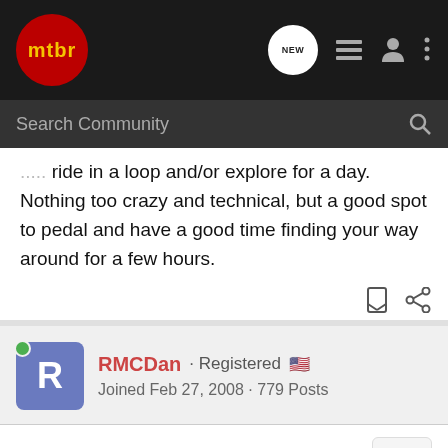mtbr · NEW · [icons]
Search Community
ride in a loop and/or explore for a day. Nothing too crazy and technical, but a good spot to pedal and have a good time finding your way around for a few hours.
RMCDan · Registered
Joined Feb 27, 2008 · 779 Posts
#10 · Apr 3, 2019
Some c
[Figure (screenshot): Chevrolet Silverado 2022 advertisement banner showing 'THE NEW 2022 SILVERADO.' with an Explore button and Chevrolet logo]